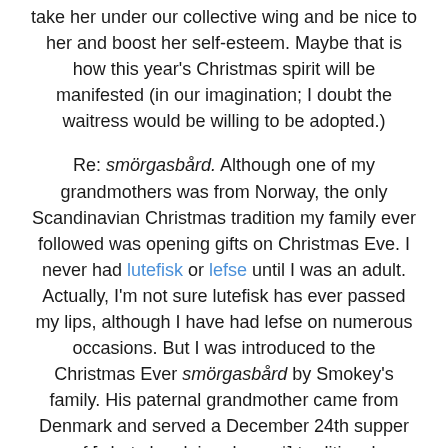take her under our collective wing and be nice to her and boost her self-esteem. Maybe that is how this year's Christmas spirit will be manifested (in our imagination; I doubt the waitress would be willing to be adopted.)
Re: smörgasbård. Although one of my grandmothers was from Norway, the only Scandinavian Christmas tradition my family ever followed was opening gifts on Christmas Eve. I never had lutefisk or lefse until I was an adult. Actually, I'm not sure lutefisk has ever passed my lips, although I have had lefse on numerous occasions. But I was introduced to the Christmas Ever smörgasbård by Smokey's family. His paternal grandmother came from Denmark and served a December 24th supper of [what she claimed were*] traditional Scandinavian dishes — rye and pumpernickel breads, ham, gaffelbiter** and ordinary pickled herring.